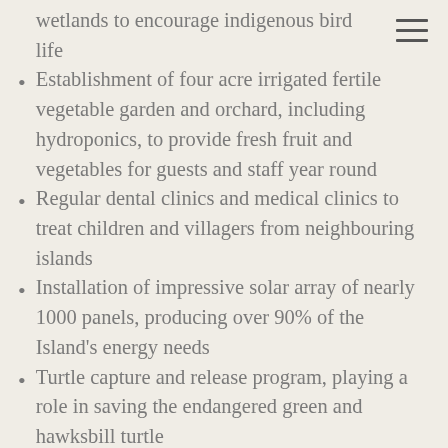wetlands to encourage indigenous bird life
Establishment of four acre irrigated fertile vegetable garden and orchard, including hydroponics, to provide fresh fruit and vegetables for guests and staff year round
Regular dental clinics and medical clinics to treat children and villagers from neighbouring islands
Installation of impressive solar array of nearly 1000 panels, producing over 90% of the Island's energy needs
Turtle capture and release program, playing a role in saving the endangered green and hawksbill turtle
Carpentry, woodworking and trade